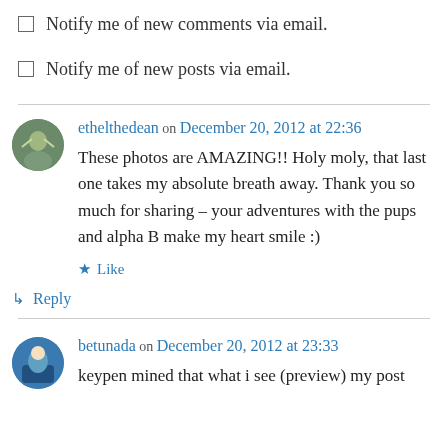Notify me of new comments via email.
Notify me of new posts via email.
ethelthedean on December 20, 2012 at 22:36
These photos are AMAZING!! Holy moly, that last one takes my absolute breath away. Thank you so much for sharing – your adventures with the pups and alpha B make my heart smile :)
★ Like
↳ Reply
betunada on December 20, 2012 at 23:33
keypen mined that what i see (preview) my post